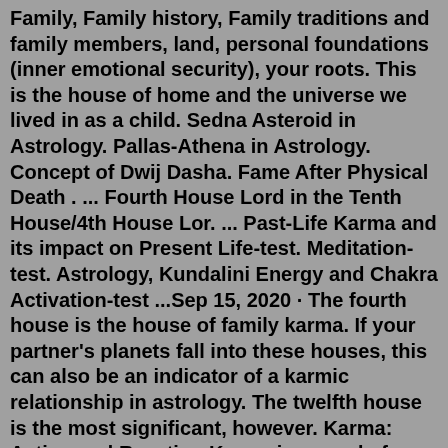Family, Family history, Family traditions and family members, land, personal foundations (inner emotional security), your roots. This is the house of home and the universe we lived in as a child. Sedna Asteroid in Astrology. Pallas-Athena in Astrology. Concept of Dwij Dasha. Fame After Physical Death . ... Fourth House Lord in the Tenth House/4th House Lor. ... Past-Life Karma and its impact on Present Life-test. Meditation-test. Astrology, Kundalini Energy and Chakra Activation-test ...Sep 15, 2020 · The fourth house is the house of family karma. If your partner's planets fall into these houses, this can also be an indicator of a karmic relationship in astrology. The twelfth house is the most significant, however. Karma: Action and Reaction Karma is a word of Sanskrit origin, meaning action or deed. Chiron in Cancer or the fourth house can manifest as a lack of nurturing and emotional security at home. Wounded roots and beginnings (particularly in the 4th house). Tom Jacobs specifies that individuals with 4th house Chiron as likely to go through emotional